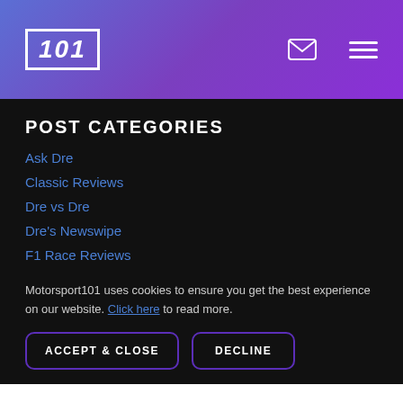101 [logo] | envelope icon | menu icon
POST CATEGORIES
Ask Dre
Classic Reviews
Dre vs Dre
Dre's Newswipe
F1 Race Reviews
Motorsport101 uses cookies to ensure you get the best experience on our website. Click here to read more.
ACCEPT & CLOSE | DECLINE